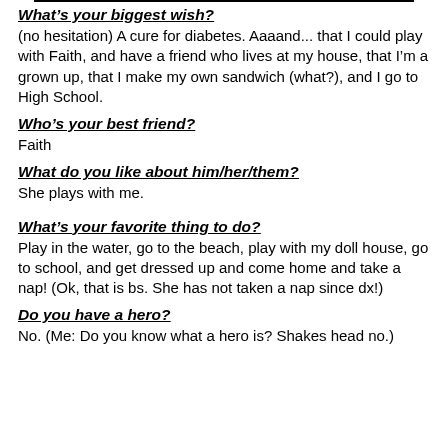What’s your biggest wish?
(no hesitation)  A cure for diabetes.  Aaaand... that I could play with Faith, and have a friend who lives at my house, that I’m a grown up, that I make my own sandwich (what?), and I go to High School.
Who’s your best friend?
Faith
What do you like about him/her/them?
She plays with me.
What’s your favorite thing to do?
Play in the water, go to the beach, play with my doll house, go to school, and get dressed up and come home and take a nap! (Ok, that is bs.  She has not taken a nap since dx!)
Do you have a hero?
No. (Me: Do you know what a hero is? Shakes head no.)